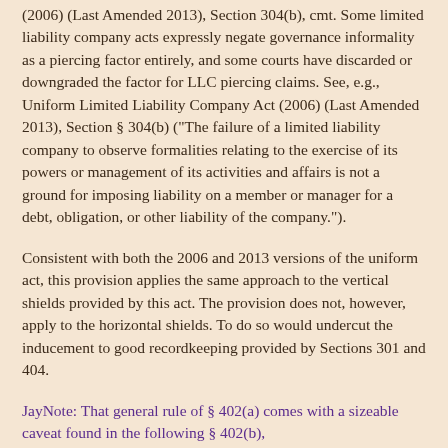(2006) (Last Amended 2013), Section 304(b), cmt. Some limited liability company acts expressly negate governance informality as a piercing factor entirely, and some courts have discarded or downgraded the factor for LLC piercing claims. See, e.g., Uniform Limited Liability Company Act (2006) (Last Amended 2013), Section § 304(b) ("The failure of a limited liability company to observe formalities relating to the exercise of its powers or management of its activities and affairs is not a ground for imposing liability on a member or manager for a debt, obligation, or other liability of the company.").
Consistent with both the 2006 and 2013 versions of the uniform act, this provision applies the same approach to the vertical shields provided by this act. The provision does not, however, apply to the horizontal shields. To do so would undercut the inducement to good recordkeeping provided by Sections 301 and 404.
JayNote: That general rule of § 402(a) comes with a sizeable caveat found in the following § 402(b),